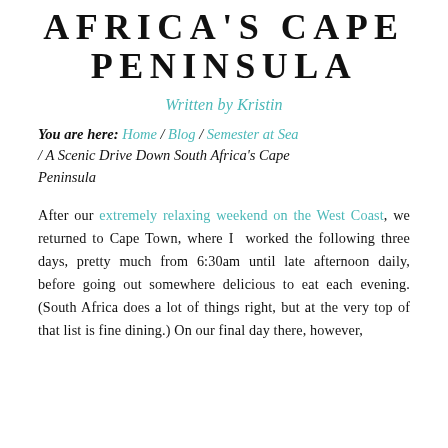AFRICA'S CAPE PENINSULA
Written by Kristin
You are here: Home / Blog / Semester at Sea / A Scenic Drive Down South Africa's Cape Peninsula
After our extremely relaxing weekend on the West Coast, we returned to Cape Town, where I worked the following three days, pretty much from 6:30am until late afternoon daily, before going out somewhere delicious to eat each evening. (South Africa does a lot of things right, but at the very top of that list is fine dining.) On our final day there, however,